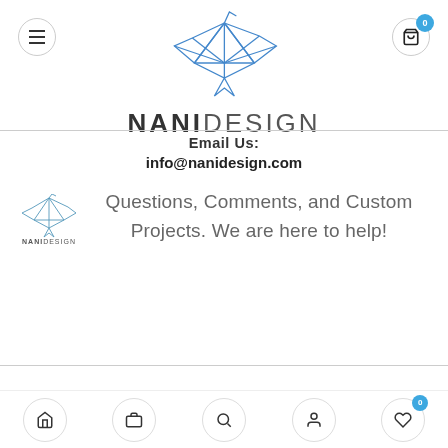[Figure (logo): Nani Design origami crane logo with text NANIDESIGN below]
Email Us:
info@nanidesign.com
[Figure (logo): Small Nani Design logo (crane icon with NANIDESIGN text)]
Questions, Comments, and Custom Projects. We are here to help!
© Nani Design | All Rights Reserved.   About Us   Shop   Contact Us   Terms & Conditions   Privacy Policy